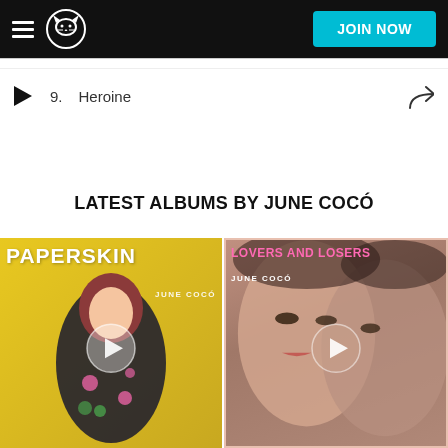[Figure (screenshot): Napster app header with hamburger menu, Napster cat logo, and JOIN NOW button in cyan]
9.   Heroine
LATEST ALBUMS BY JUNE COCÓ
[Figure (photo): Album cover: PAPERSKIN by JUNE COCÓ - woman with red hair on yellow background in floral outfit with play button overlay]
[Figure (photo): Album cover: LOVERS AND LOSERS by JUNE COCÓ - close-up photo of two faces with play button overlay]